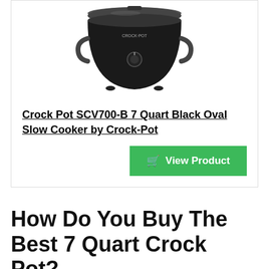[Figure (photo): Black Crock-Pot slow cooker (7 quart oval) viewed from slightly above, showing its black exterior, lid with handle, and control knob.]
Crock Pot SCV700-B 7 Quart Black Oval Slow Cooker by Crock-Pot
View Product
How Do You Buy The Best 7 Quart Crock Pot?
Do you get stressed out thinking about shopping for a great 7 Quart Crock Pot? Do doubts keep creeping into your mind? We understand, because we've already gone through the whole process of researching 7 Quart Crock Pot, which is why we assembled a comprehensive list of the greatest 7 Quart Crock Pot available in the current market.